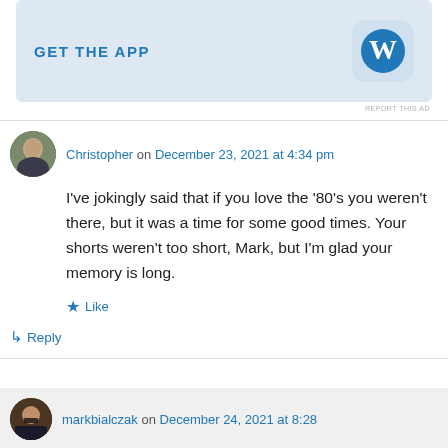[Figure (screenshot): GET THE APP banner with WordPress logo icon on blue-grey background]
REPORT THIS AD
Christopher on December 23, 2021 at 4:34 pm
I've jokingly said that if you love the '80's you weren't there, but it was a time for some good times. Your shorts weren't too short, Mark, but I'm glad your memory is long.
★ Like
↳ Reply
markbialczak on December 24, 2021 at 8:28